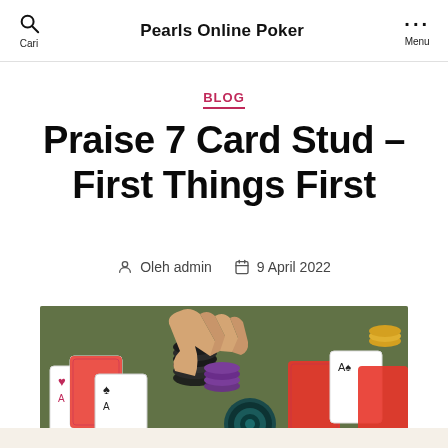Pearls Online Poker
BLOG
Praise 7 Card Stud – First Things First
Oleh admin   9 April 2022
[Figure (photo): A hand reaching across a green poker table with playing cards and poker chips scattered around.]